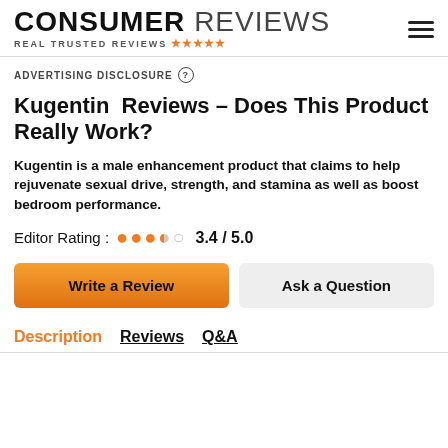CONSUMER REVIEWS — REAL TRUSTED REVIEWS
ADVERTISING DISCLOSURE
Kugentin Reviews – Does This Product Really Work?
Kugentin is a male enhancement product that claims to help rejuvenate sexual drive, strength, and stamina as well as boost bedroom performance.
Editor Rating : 3.4 / 5.0
Write a Review | Ask a Question
Description | Reviews | Q&A